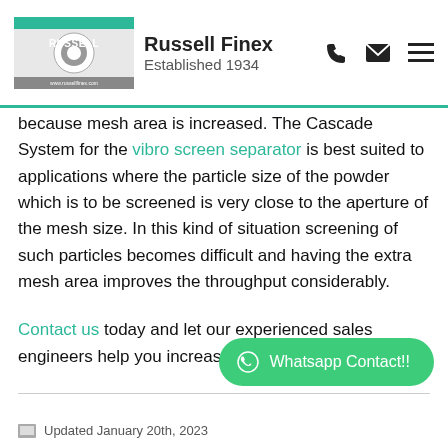Russell Finex — Established 1934
because mesh area is increased. The Cascade System for the vibro screen separator is best suited to applications where the particle size of the powder which is to be screened is very close to the aperture of the mesh size. In this kind of situation screening of such particles becomes difficult and having the extra mesh area improves the throughput considerably.
Contact us today and let our experienced sales engineers help you increase your sieving capacity.
[Figure (other): WhatsApp Contact button — green rounded pill button with WhatsApp circle icon and text 'Whatsapp Contact!!']